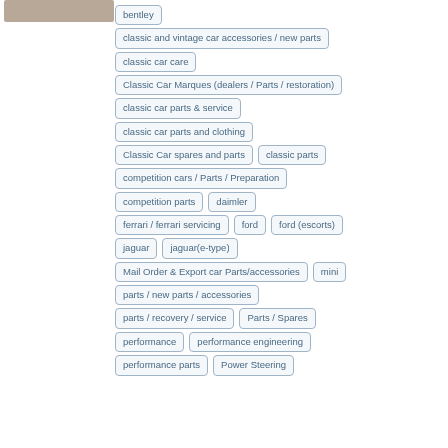bentley
classic and vintage car accessories / new parts
classic car care
Classic Car Marques (dealers / Parts / restoration)
classic car parts & service
classic car parts and clothing
Classic Car spares and parts
classic parts
competition cars / Parts / Preparation
competition parts
daimler
ferrari / ferrari servicing
ford
ford (escorts)
jaguar
jaguar(e-type)
Mail Order & Export car Parts/accessories
mini
parts / new parts / accessories
parts / recovery / service
Parts / Spares
performance
performance engineering
performance parts
Power Steering